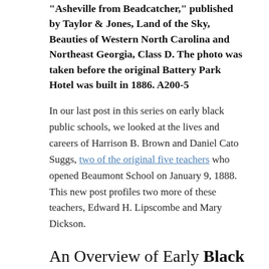Asheville from Beadcatcher," published by Taylor & Jones, Land of the Sky, Beauties of Western North Carolina and Northeast Georgia, Class D. The photo was taken before the original Battery Park Hotel was built in 1886. A200-5
In our last post in this series on early black public schools, we looked at the lives and careers of Harrison B. Brown and Daniel Cato Suggs, two of the original five teachers who opened Beaumont School on January 9, 1888. This new post profiles two more of these teachers, Edward H. Lipscombe and Mary Dickson.
An Overview of Early Black Public Schools in Asheville